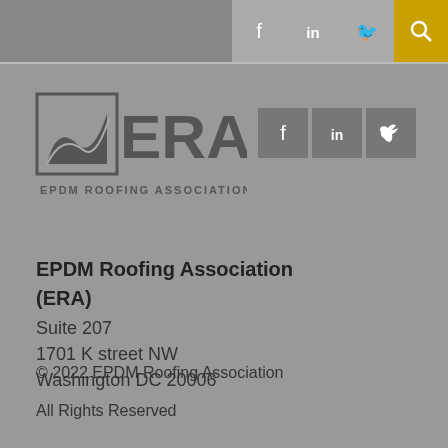[Figure (logo): ERA EPDM Roofing Association logo with stylized roof graphic and text 'EPDM ROOFING ASSOCIATION']
[Figure (screenshot): Social media icons: Facebook, LinkedIn, Twitter in gray boxes, and a search/magnify icon in gold box in the top navigation bar]
[Figure (logo): Social media icons: Facebook, LinkedIn, Twitter in gray boxes next to the ERA logo]
EPDM Roofing Association
(ERA)
Suite 207
1701 K street NW
Washington DC 20006
© 2022 EPDM Roofing Association
All Rights Reserved